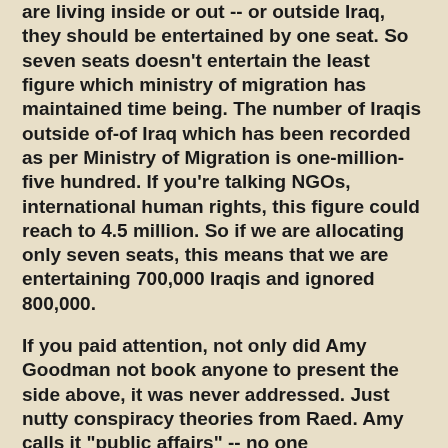are living inside or out -- or outside Iraq, they should be entertained by one seat. So seven seats doesn't entertain the least figure which ministry of migration has maintained time being. The number of Iraqis outside of-of Iraq which has been recorded as per Ministry of Migration is one-million-five hundred. If you're talking NGOs, international human rights, this figure could reach to 4.5 million. So if we are allocating only seven seats, this means that we are entertaining 700,000 Iraqis and ignored 800,000.
If you paid attention, not only did Amy Goodman not book anyone to present the side above, it was never addressed. Just nutty conspiracy theories from Raed. Amy calls it "public affairs" -- no one knowledgable would use that term.
Monday's snapshot noted the assassinations of the Sahwa members in Sadan village and that the assassins were said to be wearing Iraqi forces uniforms. Aswat al-Iraq reports Tariq al-Hashemi declared at a Wednesday news conference, "What happened in Abu-Ghraib two days ago in that we are...